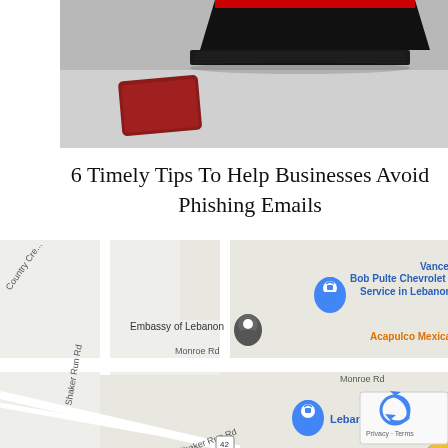[Figure (photo): Partial view of a laptop and a red/dark object on a gray surface, cropped at top]
6 Timely Tips To Help Businesses Avoid Phishing Emails
[Figure (map): Google Maps screenshot showing Lebanon area with Embassy of Lebanon marker, Bob Pulte Chevrolet Service in Lebanon, Acapulco Mexican restaurant, Monroe Rd, Shaker Run Rd, Lebanon Ford, and a recaptcha widget in bottom right corner. A yellow diagonal road runs through the map.]